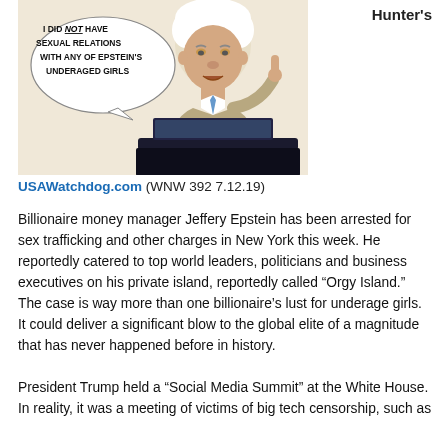Hunter's
[Figure (illustration): Political cartoon showing a man with white hair in a suit sitting behind a desk with a laptop, pointing one finger up, with a speech bubble reading 'I DID NOT HAVE SEXUAL RELATIONS WITH ANY OF EPSTEIN'S UNDERAGED GIRLS']
USAWatchdog.com (WNW 392 7.12.19)
Billionaire money manager Jeffery Epstein has been arrested for sex trafficking and other charges in New York this week. He reportedly catered to top world leaders, politicians and business executives on his private island, reportedly called “Orgy Island.” The case is way more than one billionaire’s lust for underage girls. It could deliver a significant blow to the global elite of a magnitude that has never happened before in history.
President Trump held a “Social Media Summit” at the White House. In reality, it was a meeting of victims of big tech censorship, such as